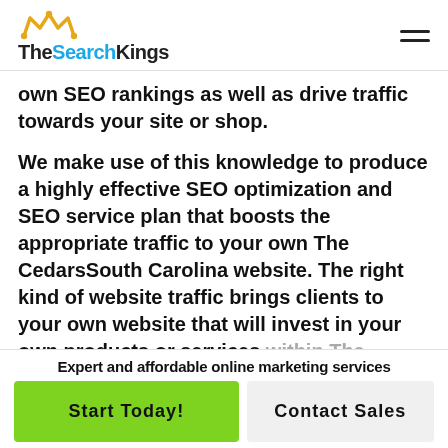TheSearchKings
own SEO rankings as well as drive traffic towards your site or shop.
We make use of this knowledge to produce a highly effective SEO optimization and SEO service plan that boosts the appropriate traffic to your own The CedarsSouth Carolina website. The right kind of website traffic brings clients to your own website that will invest in your own products or services within The CedarsSouth Carolina. Our goal is alway…
Expert and affordable online marketing services
Start Today!
Contact Sales